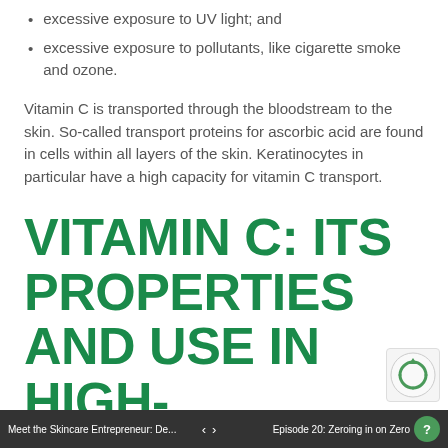excessive exposure to UV light; and
excessive exposure to pollutants, like cigarette smoke and ozone.
Vitamin C is transported through the bloodstream to the skin. So-called transport proteins for ascorbic acid are found in cells within all layers of the skin. Keratinocytes in particular have a high capacity for vitamin C transport.
VITAMIN C: ITS PROPERTIES AND USE IN HIGH- PERFORMANCE
Meet the Skincare Entrepreneur: De...   <   >   Episode 20: Zeroing in on Zero   ?   t...